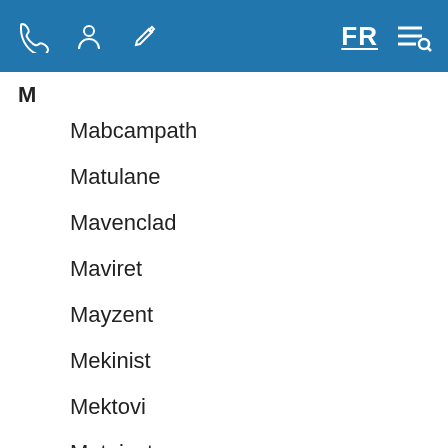FR [menu icons]
M
Mabcampath
Matulane
Mavenclad
Maviret
Mayzent
Mekinist
Mektovi
Metoject
Miglustat